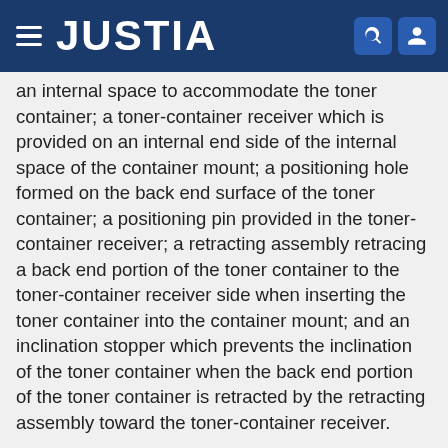JUSTIA
an internal space to accommodate the toner container; a toner-container receiver which is provided on an internal end side of the internal space of the container mount; a positioning hole formed on the back end surface of the toner container; a positioning pin provided in the toner-container receiver; a retracting assembly retracing a back end portion of the toner container to the toner-container receiver side when inserting the toner container into the container mount; and an inclination stopper which prevents the inclination of the toner container when the back end portion of the toner container is retracted by the retracting assembly toward the toner-container receiver.
Type: Application
Filed: April 28, 2014
Publication date: October 30, 2014